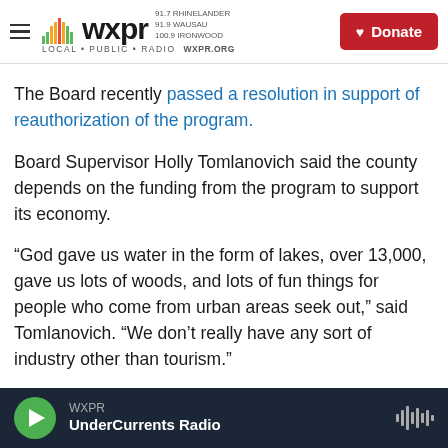WXPR — LOCAL · PUBLIC · RADIO | 91.7 RHINELANDER 91.9 WAUSAU 100.9 IRONWOOD WXPR.ORG | Donate
The Board recently passed a resolution in support of reauthorization of the program.
Board Supervisor Holly Tomlanovich said the county depends on the funding from the program to support its economy.
“God gave us water in the form of lakes, over 13,000, gave us lots of woods, and lots of fun things for people who come from urban areas seek out,” said Tomlanovich. “We don’t really have any sort of industry other than tourism.”
WXPR — UnderCurrents Radio